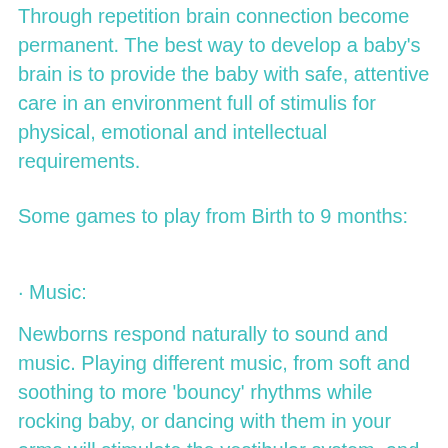Through repetition brain connection become permanent.  The best way to develop a baby's brain is to provide the baby with safe, attentive care in an environment full of stimulis for physical, emotional and intellectual requirements.
Some games to play from Birth to 9 months:
• Music:
Newborns respond naturally to sound and music. Playing different music, from soft and soothing to more 'bouncy' rhythms while rocking baby, or dancing with them in your arms will stimulate the vestibular system, and